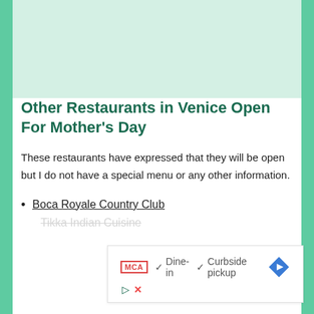Other Restaurants in Venice Open For Mother's Day
These restaurants have expressed that they will be open but I do not have a special menu or any other information.
Boca Royale Country Club
Tikka Indian Cuisine
[Figure (infographic): Advertisement banner showing MCA logo badge, checkmarks for Dine-in and Curbside pickup options, and a blue navigation arrow icon. Below are play and close control icons.]